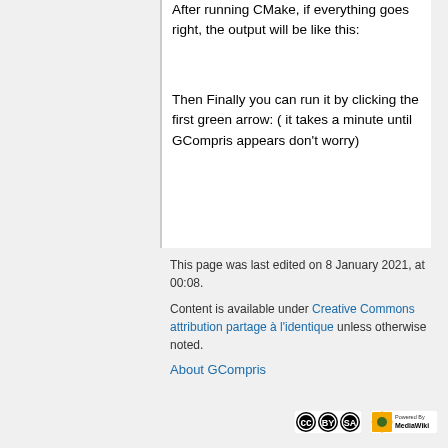After running CMake, if everything goes right, the output will be like this:
Then Finally you can run it by clicking the first green arrow: ( it takes a minute until GCompris appears don't worry)
This page was last edited on 8 January 2021, at 00:08.
Content is available under Creative Commons attribution partage à l'identique unless otherwise noted.
About GCompris
[Figure (logo): Creative Commons BY-SA logo]
[Figure (logo): Powered by MediaWiki logo]